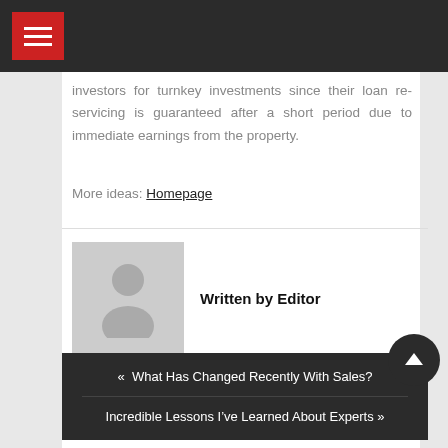investors for turnkey investments since their loan re-servicing is guaranteed after a short period due to immediate earnings from the property.
More ideas: Homepage
[Figure (photo): Default avatar/profile placeholder icon showing a grey silhouette of a person]
Written by Editor
« What Has Changed Recently With Sales?
Incredible Lessons I've Learned About Experts »